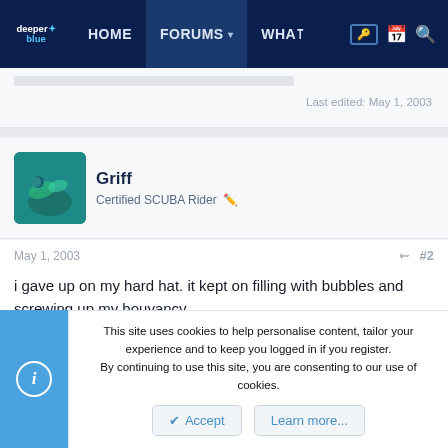deeperblue HOME FORUMS WHAT
Last edited: May 1, 2003
Griff
Certified SCUBA Rider
May 1, 2003 #2
i gave up on my hard hat. it kept on filling with bubbles and screwing up my bouyancy.
This site uses cookies to help personalise content, tailor your experience and to keep you logged in if you register.
By continuing to use this site, you are consenting to our use of cookies.
Accept  Learn more...